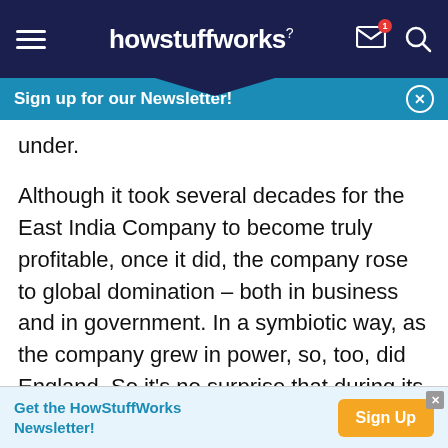howstuffworks
Sign up for our Newsletter!
under.
Although it took several decades for the East India Company to become truly profitable, once it did, the company rose to global domination – both in business and in government. In a symbiotic way, as the company grew in power, so, too, did England. So it's no surprise that during its existence, the company was directly involved in major geopolitical changes: The EIC literally changed the course of
Get the HowStuffWorks Newsletter! Sign Up